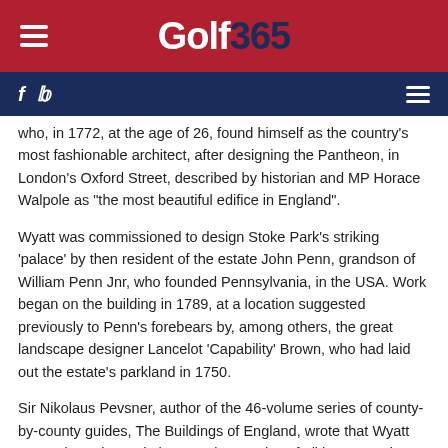Golf 365
who, in 1772, at the age of 26, found himself as the country's most fashionable architect, after designing the Pantheon, in London's Oxford Street, described by historian and MP Horace Walpole as "the most beautiful edifice in England".
Wyatt was commissioned to design Stoke Park's striking 'palace' by then resident of the estate John Penn, grandson of William Penn Jnr, who founded Pennsylvania, in the USA. Work began on the building in 1789, at a location suggested previously to Penn's forebears by, among others, the great landscape designer Lancelot 'Capability' Brown, who had laid out the estate's parkland in 1750.
Sir Nikolaus Pevsner, author of the 46-volume series of county-by-county guides, The Buildings of England, wrote that Wyatt "... made Stoke Park the most impressive of all late Georgian houses in Buckinghamshire".